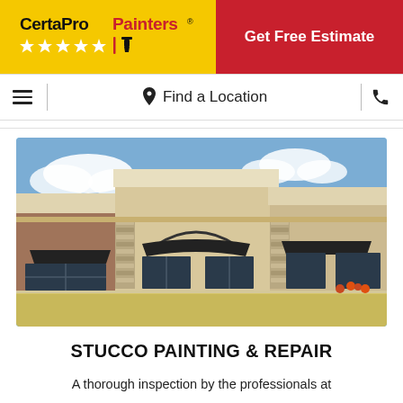[Figure (logo): CertaPro Painters logo on yellow background with stars and paint brush icon]
Get Free Estimate
Find a Location
[Figure (photo): Commercial strip mall building with stucco exterior, stone columns, dark awnings, and large glass windows under a blue sky]
STUCCO PAINTING & REPAIR
A thorough inspection by the professionals at